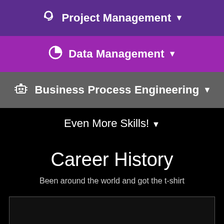Project Management
Data Management
Business Process Engineering
Even More Skills!
Career History
Been around the world and got the t-shirt
[Figure (other): Empty dark box, partially visible at bottom of page]